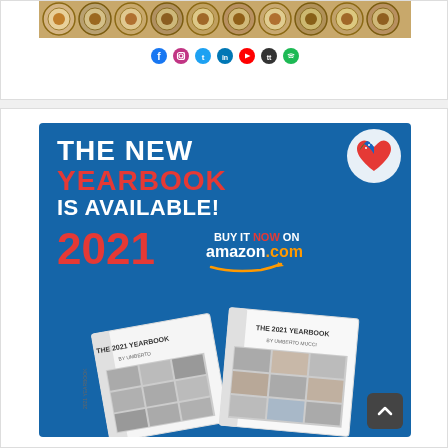[Figure (photo): Decorative plates arranged together, top portion visible]
[Figure (infographic): Social media icons row: Facebook, Instagram, Twitter, LinkedIn, YouTube, TikTok, Spotify]
[Figure (infographic): Advertisement banner with blue background: THE NEW YEARBOOK IS AVAILABLE! 2021 - BUY IT NOW ON amazon.com - shows two book covers of The 2021 Yearbook by Umberto Mucci with heart logo (Italian-American colors)]